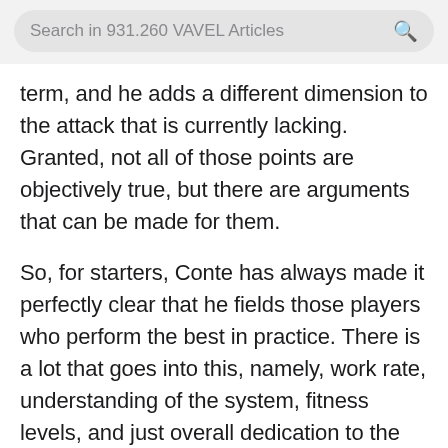Search in 931.260 VAVEL Articles
term, and he adds a different dimension to the attack that is currently lacking. Granted, not all of those points are objectively true, but there are arguments that can be made for them.
So, for starters, Conte has always made it perfectly clear that he fields those players who perform the best in practice. There is a lot that goes into this, namely, work rate, understanding of the system, fitness levels, and just overall dedication to the cause. It seems logical, that since Llorente starting training with the side before Tevez did, and even dedicated himself to learning Italian, he should have a perfectly good